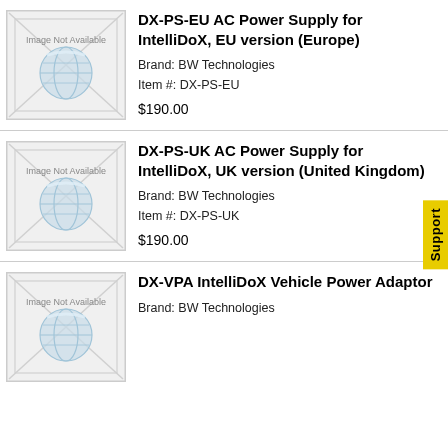[Figure (illustration): Image Not Available placeholder with envelope and globe watermark icon]
DX-PS-EU AC Power Supply for IntelliDoX, EU version (Europe)
Brand: BW Technologies
Item #: DX-PS-EU
$190.00
[Figure (illustration): Image Not Available placeholder with envelope and globe watermark icon]
DX-PS-UK AC Power Supply for IntelliDoX, UK version (United Kingdom)
Brand: BW Technologies
Item #: DX-PS-UK
$190.00
[Figure (illustration): Image Not Available placeholder with envelope and globe watermark icon]
DX-VPA IntelliDoX Vehicle Power Adaptor
Brand: BW Technologies